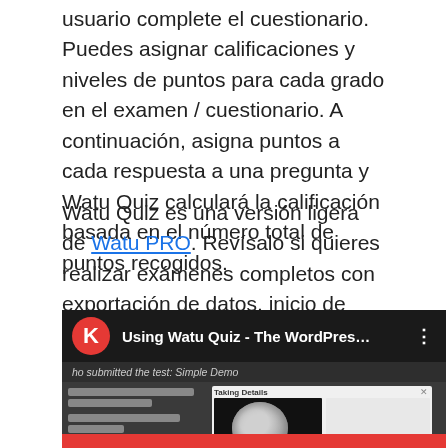usuario complete el cuestionario. Puedes asignar calificaciones y niveles de puntos para cada grado en el examen / cuestionario. A continuación, asigna puntos a cada respuesta a una pregunta y Watu Quiz calculará la calificación basada en el número total de puntos recogidos.
Watu Quiz es una versión ligera de Watu PRO. Revísalo si quieres realizar exámenes completos con exportación de datos, inicio de sesión de los estudiantes, sistema de calificación elaborado, categorías, informes, análisis de datos, etc.
[Figure (screenshot): YouTube video thumbnail showing 'Using Watu Quiz - The WordPres...' with a red K avatar, three-dot menu, subtitle 'who submitted the test: Simple Demo', and a Taking Details modal with a moon image.]